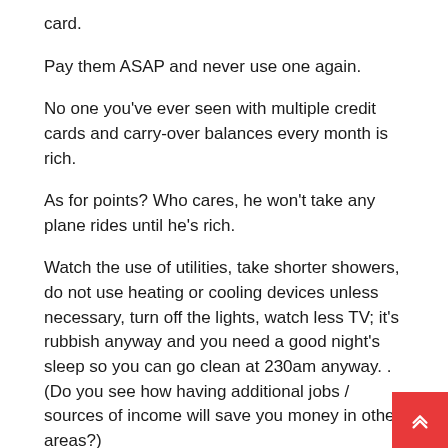card.
Pay them ASAP and never use one again.
No one you've ever seen with multiple credit cards and carry-over balances every month is rich.
As for points? Who cares, he won't take any plane rides until he's rich.
Watch the use of utilities, take shorter showers, do not use heating or cooling devices unless necessary, turn off the lights, watch less TV; it's rubbish anyway and you need a good night's sleep so you can go clean at 230am anyway. . (Do you see how having additional jobs / sources of income will save you money in other areas?)